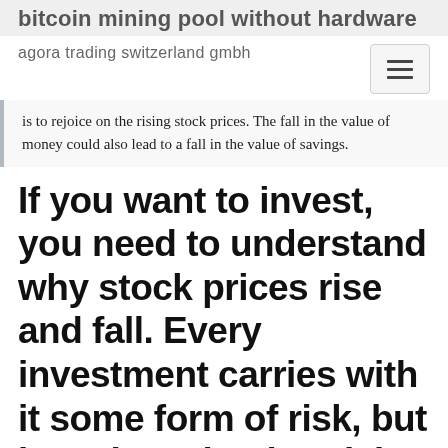bitcoin mining pool without hardware
agora trading switzerland gmbh
is to rejoice on the rising stock prices. The fall in the value of money could also lead to a fall in the value of savings.
If you want to invest, you need to understand why stock prices rise and fall. Every investment carries with it some form of risk, but knowing why that risk occurs can help you to keep your money safe. In